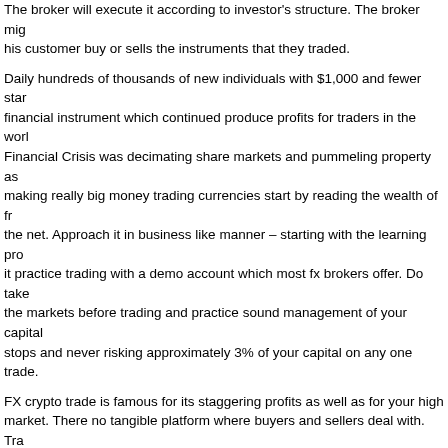The broker will execute it according to investor's structure. The broker might his customer buy or sells the instruments that they traded.
Daily hundreds of thousands of new individuals with $1,000 and fewer star financial instrument which continued produce profits for traders in the world. Financial Crisis was decimating share markets and pummeling property as making really big money trading currencies start by reading the wealth of fr the net. Approach it in business like manner – starting with the learning pro it practice trading with a demo account which most fx brokers offer. Do take the markets before trading and practice sound management of your capital stops and never risking approximately 3% of your capital on any one trade.
FX crypto trade is famous for its staggering profits as well as for your high market. There no tangible platform where buyers and sellers deal with. Tra network, online is the most preferred a. This market is spread across many market never sleeps. Is actually not open hrs for 5 and half days full week.
If you want to to infiltrate with that business, might ask this query in your he how can I make make money online? The main thought of this moneymakin money coming in the value a variety of currencies. Actually, the concept is, low price and you might sell them as the worth goes away. So, that's the si from your money.
Whether you choosed to learn the right way to do it yourself or hire for won